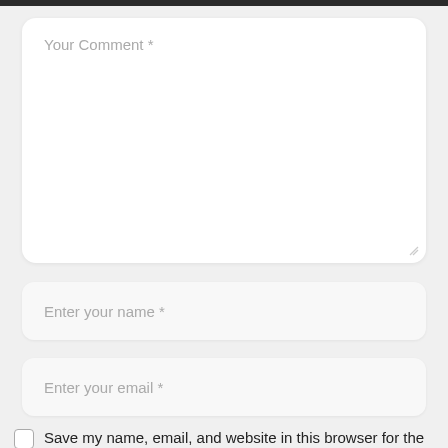Your Comment *
Enter your name *
Enter your email *
Save my name, email, and website in this browser for the next time I comment.